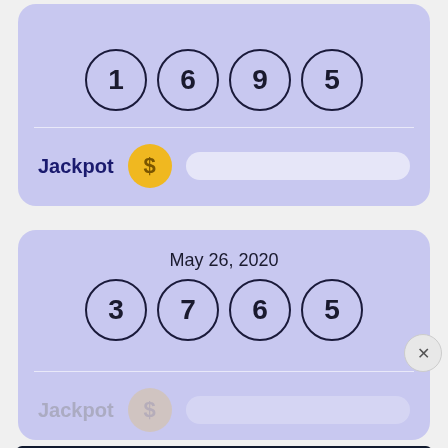[Figure (infographic): Lottery card (top, partial) showing numbers 1, 6, 9, 5 in circles on purple background, with Jackpot label and dollar coin icon]
[Figure (infographic): Lottery card for May 26, 2020 showing numbers 3, 7, 6, 5 in circles on purple background, with Jackpot label and dollar coin icon]
[Figure (infographic): Disney Bundle advertisement banner: Hulu, Disney+, ESPN+ logos with GET THE DISNEY BUNDLE call-to-action]
[Figure (infographic): Partial third lottery card peeking at bottom]